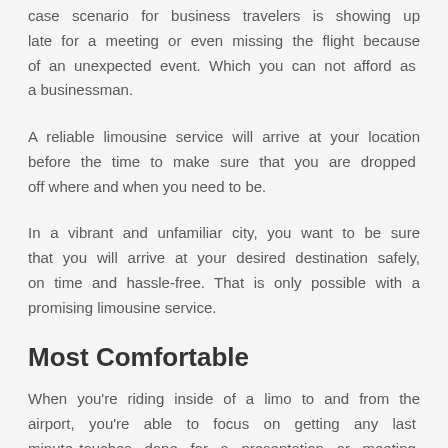case scenario for business travelers is showing up late for a meeting or even missing the flight because of an unexpected event. Which you can not afford as a businessman.
A reliable limousine service will arrive at your location before the time to make sure that you are dropped off where and when you need to be.
In a vibrant and unfamiliar city, you want to be sure that you will arrive at your desired destination safely, on time and hassle-free. That is only possible with a promising limousine service.
Most Comfortable
When you’re riding inside of a limo to and from the airport, you’re able to focus on getting any last minute touches done for a presentation or meeting with clients, rather than worrying about your hands on the